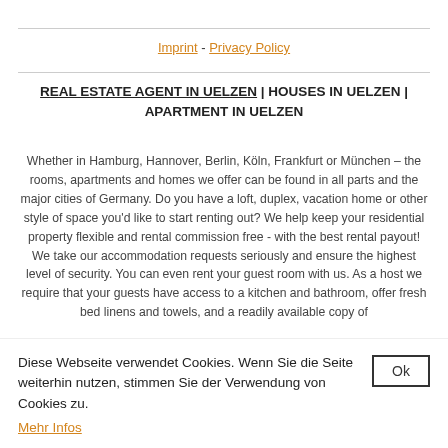Imprint - Privacy Policy
REAL ESTATE AGENT IN UELZEN | HOUSES IN UELZEN | APARTMENT IN UELZEN
Whether in Hamburg, Hannover, Berlin, Köln, Frankfurt or München – the rooms, apartments and homes we offer can be found in all parts and the major cities of Germany. Do you have a loft, duplex, vacation home or other style of space you'd like to start renting out? We help keep your residential property flexible and rental commission free - with the best rental payout! We take our accommodation requests seriously and ensure the highest level of security. You can even rent your guest room with us. As a host we require that your guests have access to a kitchen and bathroom, offer fresh bed linens and towels, and a readily available copy of
Diese Webseite verwendet Cookies. Wenn Sie die Seite weiterhin nutzen, stimmen Sie der Verwendung von Cookies zu. Mehr Infos